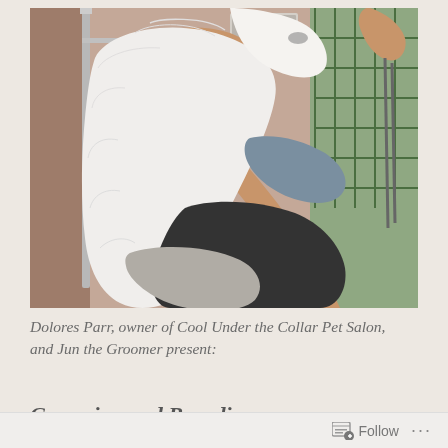[Figure (photo): A person grooming a small white dog on a grooming table. The groomer holds the dog's head up while working on its neck/chin area. Grooming tools and a green cage are visible in the background.]
Dolores Parr, owner of Cool Under the Collar Pet Salon, and Jun the Groomer present:
Grooming and Branding